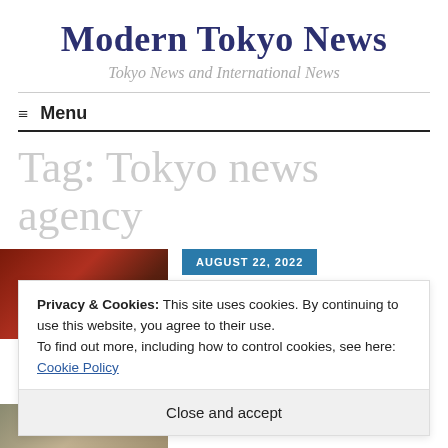Modern Tokyo News
Tokyo News and International News
≡  Menu
Tag: Tokyo news agency
[Figure (photo): Photo of a train/metro at night with orange and red tones]
AUGUST 22, 2022
Privacy & Cookies: This site uses cookies. By continuing to use this website, you agree to their use.
To find out more, including how to control cookies, see here: Cookie Policy
Close and accept
AUGUST 22, 2022
[Figure (photo): Partial photo, bottom of page]